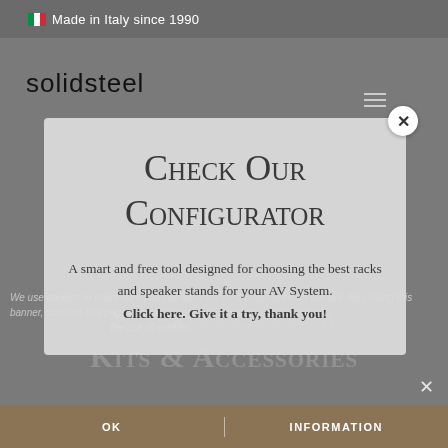🇮🇹 Made in Italy since 1990
[Figure (logo): solidsteel brand logo in dark text]
Check Our Configurator
A smart and free tool designed for choosing the best racks and speaker stands for your AV System.
Click here. Give it a try, thank you!
S Series Custom Kits & Accessories
We use cookies to make sure you can have the best experience on our site. By closing this banner, scrolling this page or clicking any of its elements, you consent to the use of cookies.
OK | INFORMATION